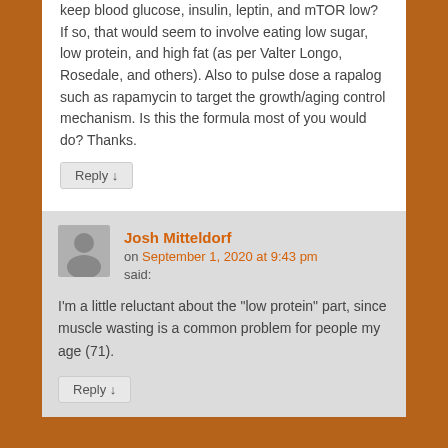keep blood glucose, insulin, leptin, and mTOR low? If so, that would seem to involve eating low sugar, low protein, and high fat (as per Valter Longo, Rosedale, and others). Also to pulse dose a rapalog such as rapamycin to target the growth/aging control mechanism. Is this the formula most of you would do? Thanks.
Reply ↓
Josh Mitteldorf
on September 1, 2020 at 9:43 pm
said:
I'm a little reluctant about the “low protein” part, since muscle wasting is a common problem for people my age (71).
Reply ↓